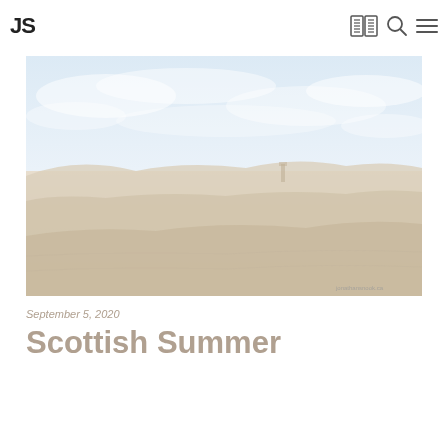JS
[Figure (photo): Wide landscape photograph of Scottish moorland with rolling hills and overcast sky, very faded/washed out tones of blue sky and beige-brown land. A small building or tower is visible in the mid-distance.]
September 5, 2020
Scottish Summer